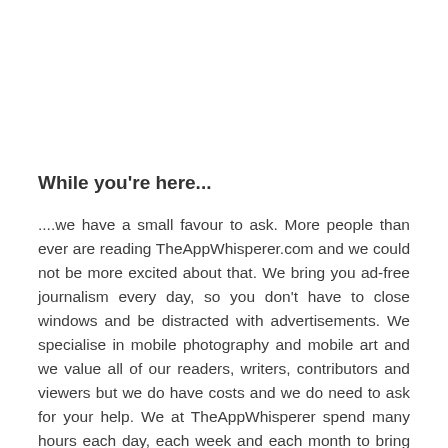While you're here...
....we have a small favour to ask. More people than ever are reading TheAppWhisperer.com and we could not be more excited about that. We bring you ad-free journalism every day, so you don't have to close windows and be distracted with advertisements. We specialise in mobile photography and mobile art and we value all of our readers, writers, contributors and viewers but we do have costs and we do need to ask for your help. We at TheAppWhisperer spend many hours each day, each week and each month to bring you this high quality level of